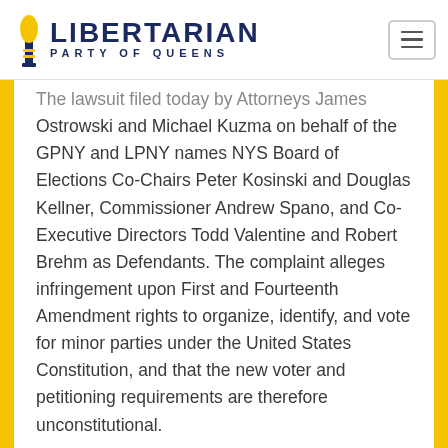LIBERTARIAN PARTY OF QUEENS
The lawsuit filed today by Attorneys James Ostrowski and Michael Kuzma on behalf of the GPNY and LPNY names NYS Board of Elections Co-Chairs Peter Kosinski and Douglas Kellner, Commissioner Andrew Spano, and Co-Executive Directors Todd Valentine and Robert Brehm as Defendants. The complaint alleges infringement upon First and Fourteenth Amendment rights to organize, identify, and vote for minor parties under the United States Constitution, and that the new voter and petitioning requirements are therefore unconstitutional.
"Whatever justification they may use for it, the